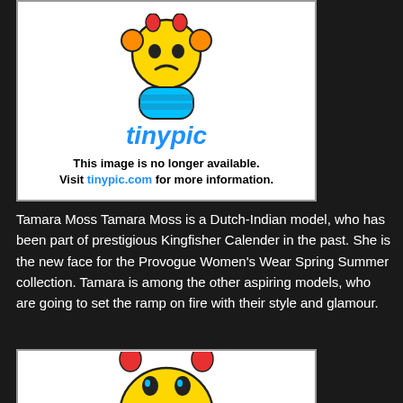[Figure (illustration): Tinypic placeholder image showing a yellow cartoon mascot character with orange ears and blue body parts, with the tinypic logo text below and message: This image is no longer available. Visit tinypic.com for more information.]
Tamara Moss Tamara Moss is a Dutch-Indian model, who has been part of prestigious Kingfisher Calender in the past. She is the new face for the Provogue Women's Wear Spring Summer collection. Tamara is among the other aspiring models, who are going to set the ramp on fire with their style and glamour.
[Figure (illustration): Second Tinypic placeholder image showing a yellow cartoon sad face mascot character (partially visible, cropped at bottom of page).]